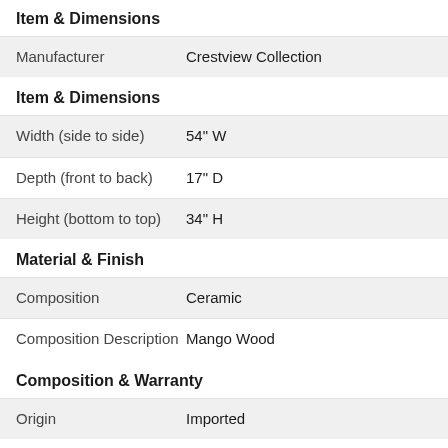Item & Dimensions
| Manufacturer | Crestview Collection |
Item & Dimensions
| Width (side to side) | 54" W |
| Depth (front to back) | 17" D |
| Height (bottom to top) | 34" H |
Material & Finish
| Composition | Ceramic |
| Composition Description | Mango Wood |
Composition & Warranty
| Origin | Imported |